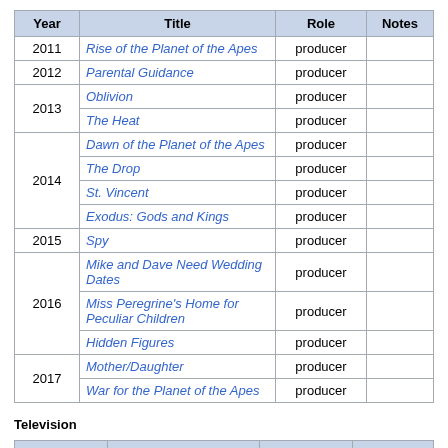| Year | Title | Role | Notes |
| --- | --- | --- | --- |
| 2011 | Rise of the Planet of the Apes | producer |  |
| 2012 | Parental Guidance | producer |  |
| 2013 | Oblivion | producer |  |
| 2013 | The Heat | producer |  |
| 2014 | Dawn of the Planet of the Apes | producer |  |
| 2014 | The Drop | producer |  |
| 2014 | St. Vincent | producer |  |
| 2014 | Exodus: Gods and Kings | producer |  |
| 2015 | Spy | producer |  |
| 2016 | Mike and Dave Need Wedding Dates | producer |  |
| 2016 | Miss Peregrine's Home for Peculiar Children | producer |  |
| 2016 | Hidden Figures | producer |  |
| 2017 | Mother/Daughter | producer |  |
| 2017 | War for the Planet of the Apes | producer |  |
Television
| Year | Title | Role | Notes |
| --- | --- | --- | --- |